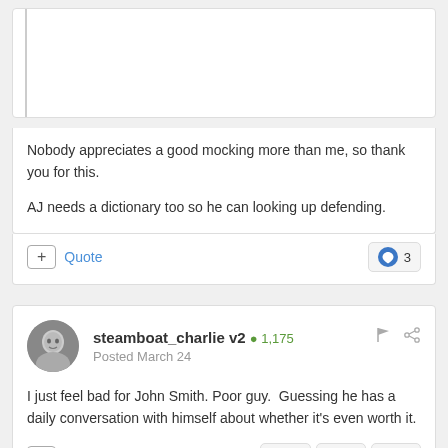[Figure (screenshot): Partial forum post card at top, showing a white card with a vertical left border line, truncated/empty content area]
Nobody appreciates a good mocking more than me, so thank you for this.

AJ needs a dictionary too so he can looking up defending.
+ Quote  ♥ 3
steamboat_charlie v2  +1,175
Posted March 24
I just feel bad for John Smith. Poor guy.  Guessing he has a daily conversation with himself about whether it's even worth it.
+ Quote  ♥ 6  🏆 1  😄 7